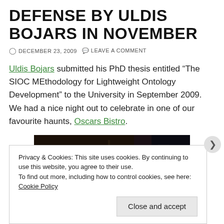DEFENSE BY ULDIS BOJARS IN NOVEMBER
DECEMBER 23, 2009   LEAVE A COMMENT
Uldis Bojars submitted his PhD thesis entitled “The SIOC MEthodology for Lightweight Ontology Development” to the University in September 2009. We had a nice night out to celebrate in one of our favourite haunts, Oscars Bistro.
[Figure (photo): Dark interior photo of a bistro/restaurant at night with warm lights and bokeh effect]
Privacy & Cookies: This site uses cookies. By continuing to use this website, you agree to their use.
To find out more, including how to control cookies, see here: Cookie Policy
Close and accept